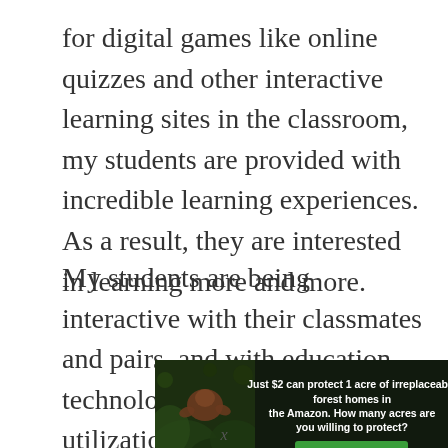for digital games like online quizzes and other interactive learning sites in the classroom, my students are provided with incredible learning experiences. As a result, they are interested in learning more and more.
My students are being interactive with their classmates and pairs, and with education technology itself. However, the utilization of games, online learning sites, and videos can become complicated if students are not fully guided and controlled. And, we teachers, should
[Figure (infographic): Advertisement banner with dark forest background showing an orangutan or similar primate. Text reads: 'Just $2 can protect 1 acre of irreplaceable forest homes in the Amazon. How many acres are you willing to protect?' with a green 'PROTECT FORESTS NOW' button.]
x